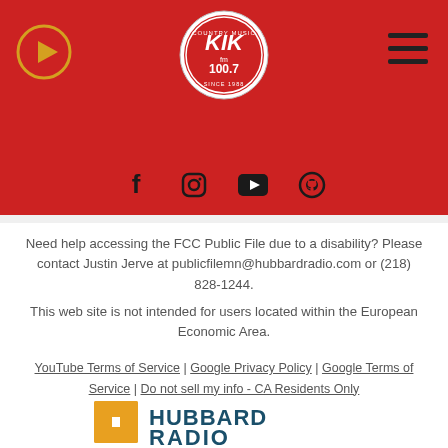[Figure (logo): KIK fm 100.7 radio station logo in circular badge on red header with play button and hamburger menu]
[Figure (infographic): Social media icons bar: Facebook, Instagram, YouTube, and another icon on dark red background]
Need help accessing the FCC Public File due to a disability? Please contact Justin Jerve at publicfilemn@hubbardradio.com or (218) 828-1244.
This web site is not intended for users located within the European Economic Area.
YouTube Terms of Service | Google Privacy Policy | Google Terms of Service | Do not sell my info - CA Residents Only
© 2022 Hubbard Radio
[Figure (logo): Hubbard Radio logo with orange/gold H icon and teal HUBBARD RADIO text]